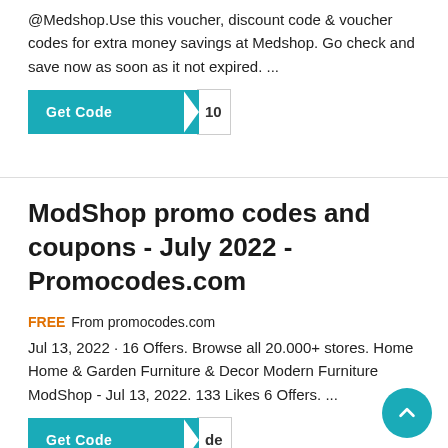@Medshop.Use this voucher, discount code & voucher codes for extra money savings at Medshop. Go check and save now as soon as it not expired. ...
[Figure (other): Get Code button with teal background and arrow shape, showing code '10']
ModShop promo codes and coupons - July 2022 - Promocodes.com
FREE From promocodes.com
Jul 13, 2022 · 16 Offers. Browse all 20.000+ stores. Home Home & Garden Furniture & Decor Modern Furniture ModShop - Jul 13, 2022. 133 Likes 6 Offers. ...
[Figure (other): Get Code button with teal background and arrow shape, showing code 'de']